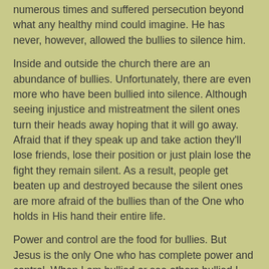numerous times and suffered persecution beyond what any healthy mind could imagine. He has never, however, allowed the bullies to silence him.
Inside and outside the church there are an abundance of bullies. Unfortunately, there are even more who have been bullied into silence. Although seeing injustice and mistreatment the silent ones turn their heads away hoping that it will go away. Afraid that if they speak up and take action they'll lose friends, lose their position or just plain lose the fight they remain silent. As a result, people get beaten up and destroyed because the silent ones are more afraid of the bullies than of the One who holds in His hand their entire life.
Power and control are the food for bullies. But Jesus is the only One who has complete power and control. When I am bullied or see others bullied I cannot be afraid to speak the truth. Bullies are detrimental and destructive but their effects are mild compared to God's response if we don't fight their efforts, in boldness and love, with God's truth.
Jesus ...